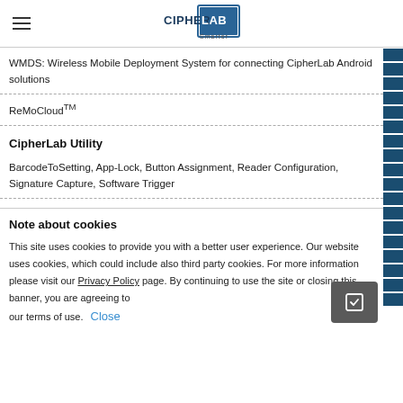CipherLab Smarter
WMDS: Wireless Mobile Deployment System for connecting CipherLab Android solutions
ReMoCloud™
CipherLab Utility
BarcodeToSetting, App-Lock, Button Assignment, Reader Configuration, Signature Capture, Software Trigger
Note about cookies
This site uses cookies to provide you with a better user experience. Our website uses cookies, which could include also third party cookies. For more information please visit our Privacy Policy page. By continuing to use the site or closing this banner, you are agreeing to our terms of use.